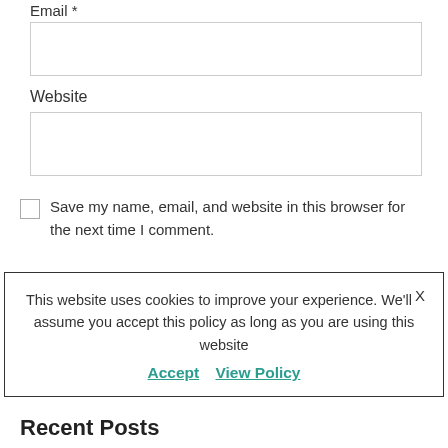Email *
[Figure (other): Empty text input box for Email field]
Website
[Figure (other): Empty text input box for Website field]
Save my name, email, and website in this browser for the next time I comment.
This website uses cookies to improve your experience. We'll assume you accept this policy as long as you are using this website Accept View Policy
Recent Posts